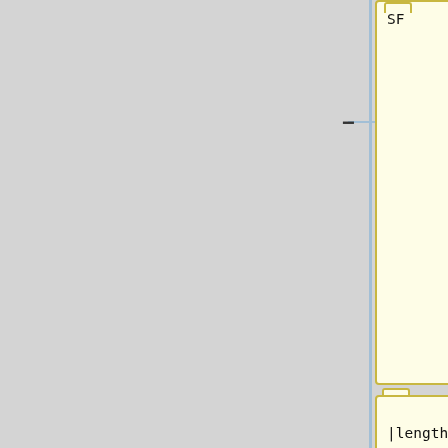[Figure (flowchart): Diff/code review interface showing three rows of paired yellow (left, code/parameters) and blue (right, commit messages/descriptions) boxes connected by minus and plus signs on a horizontal spine. Row 1 (partial): yellow box with 'SF', blue box with 'yiwiktionary: Add localized mobile wordmark {{phabT|T308411}}'. Row 2: yellow box with '|length=1', blue box with '{{ircnick|sergi0|Sergio Gimeno}}'. Row 3: yellow box with '|window=[[mw:Services|Services]] - [[mw:Extension:Graph|Graphoid]] / Citoid / [[ORES]]', blue box with '* [config] {{gerrit|792149}} GrowthExperiments: Update campaigns benefit list config {{phabT|T305'.]